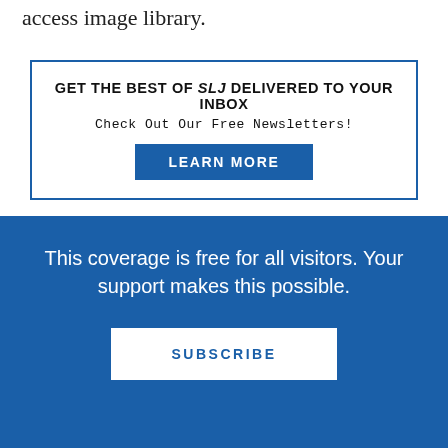access image library.
[Figure (infographic): Promotional newsletter box with blue border. Text: GET THE BEST OF SLJ DELIVERED TO YOUR INBOX. Check Out Our Free Newsletters! Button: LEARN MORE]
Users may search and browse, use the tools to zoom, print, export, and share images from this long list of participating organizations.
Thanks to Gary Price for this lead.
This coverage is free for all visitors. Your support makes this possible.